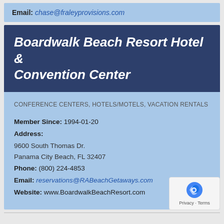Email: chase@fraleyprovisions.com
Boardwalk Beach Resort Hotel & Convention Center
CONFERENCE CENTERS, HOTELS/MOTELS, VACATION RENTALS
Member Since: 1994-01-20
Address:
9600 South Thomas Dr.
Panama City Beach, FL 32407
Phone: (800) 224-4853
Email: reservations@RABeachGetaways.com
Website: www.BoardwalkBeachResort.com